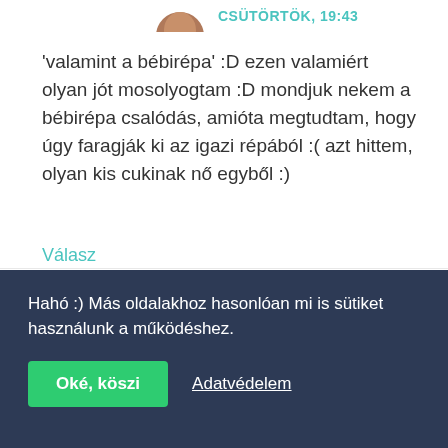CSÜTÖRTÖK, 19:43
'valamint a bébirépa' :D ezen valamiért olyan jót mosolyogtam :D mondjuk nekem a bébirépa csalódás, amióta megtudtam, hogy úgy faragják ki az igazi répából :( azt hittem, olyan kis cukinak nő egyből :)
Válasz
[Figure (illustration): Partial avatar image of a character at top of card]
agent
Hahó :) Más oldalakhoz hasonlóan mi is sütiket használunk a működéshez.
Oké, köszi
Adatvédelem